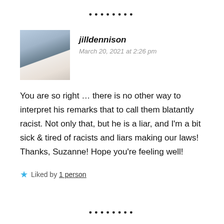[Figure (other): Row of decorative dots at the top of the page]
[Figure (photo): Profile photo of jilldennison showing a woman in black jacket standing in front of a building]
jilldennison
March 20, 2021 at 2:26 pm
You are so right ... there is no other way to interpret his remarks that to call them blatantly racist. Not only that, but he is a liar, and I'm a bit sick & tired of racists and liars making our laws! Thanks, Suzanne! Hope you're feeling well!
Liked by 1 person
[Figure (other): Row of decorative dots at the bottom of the page]